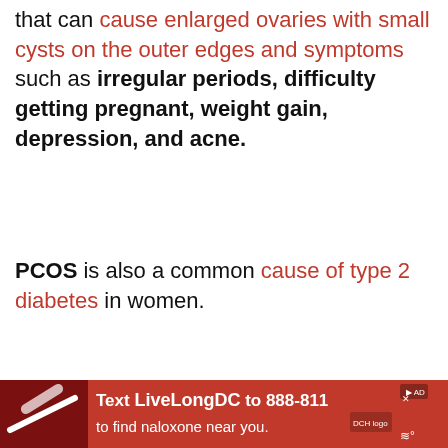that can cause enlarged ovaries with small cysts on the outer edges and symptoms such as irregular periods, difficulty getting pregnant, weight gain, depression, and acne.
PCOS is also a common cause of type 2 diabetes in women.
JTI)
We use cookies on our website to give you the most relevant experience by remembering your preferences and repeat visits. By clicking "Accept All", you consent to the use of ALL the cookies. However, you may visit "Cookie Settings" to provide a controlled consent.
susceptible to gar in their bacteria.
nclude pain or ody urine, and when your
[Figure (screenshot): Advertisement banner: Text LiveLongDC to 888-811 to find naloxone near you. Red background with pill imagery and DC health logo.]